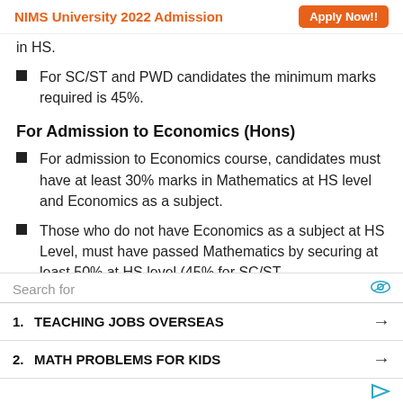NIMS University 2022 Admission   Apply Now!!
in HS.
For SC/ST and PWD candidates the minimum marks required is 45%.
For Admission to Economics (Hons)
For admission to Economics course, candidates must have at least 30% marks in Mathematics at HS level and Economics as a subject.
Those who do not have Economics as a subject at HS Level, must have passed Mathematics by securing at least 50% at HS level (45% for SC/ST and PWD).
Search for
1.  TEACHING JOBS OVERSEAS  →
2.  MATH PROBLEMS FOR KIDS  →